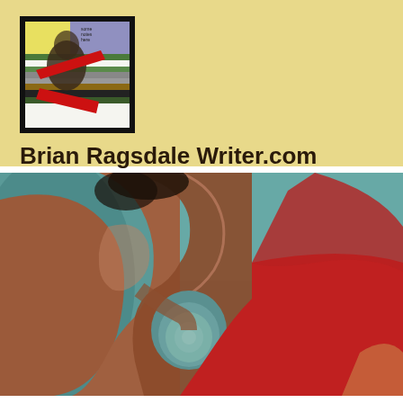[Figure (logo): Abstract colorful logo with a figure rendered in a cubist/collage style with red, green, black, white, yellow stripes and a red arrow, on a black bordered background]
Brian Ragsdale Writer.com
[Figure (photo): Close-up painting of an abstract figure showing a side profile of a face and neck in warm brown/rust tones against a teal/turquoise background, with a round teal pendant or earring, and a large red garment area in the lower right]